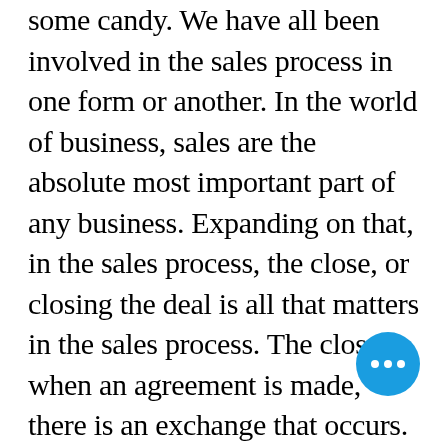some candy. We have all been involved in the sales process in one form or another. In the world of business, sales are the absolute most important part of any business. Expanding on that, in the sales process, the close, or closing the deal is all that matters in the sales process. The close is when an agreement is made, there is an exchange that occurs. You give something in exchange for something. The ability to close is key to a companies survival. There are only two ways that companies make money, from investors or customers and both of